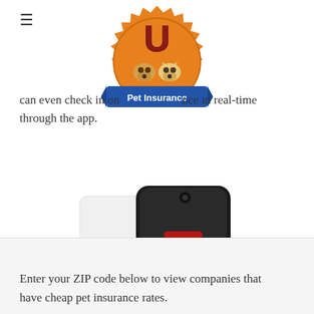[Figure (logo): Pet Insurance U logo — orange badge/seal shape with red U letter and cartoon dog and cat faces, blue ribbon banner with 'Pet Insurance' text]
can even check in on your pet'srance in real-time through the app.
[Figure (photo): Petcube device — white and black cube-shaped pet camera with red laser dot visible on dark front panel and blue LED strip on bottom]
Enter your ZIP code below to view companies that have cheap pet insurance rates.